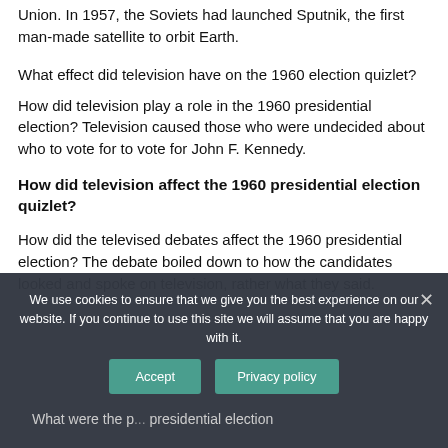Union. In 1957, the Soviets had launched Sputnik, the first man-made satellite to orbit Earth.
What effect did television have on the 1960 election quizlet?
How did television play a role in the 1960 presidential election? Television caused those who were undecided about who to vote for to vote for John F. Kennedy.
How did television affect the 1960 presidential election quizlet?
How did the televised debates affect the 1960 presidential election? The debate boiled down to how the candidates looked and spoke on television, rather what they said.
We use cookies to ensure that we give you the best experience on our website. If you continue to use this site we will assume that you are happy with it.
What were the...